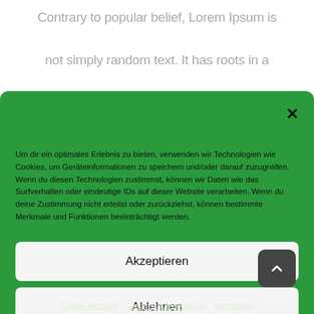Contrary to popular belief, Lorem Ipsum is not simply random text. It has roots in a
Cookie-Zustimmung verwalten
Um dir ein optimales Erlebnis zu bieten, verwenden wir Technologien wie Cookies, um Geräteinformationen zu speichern und/oder darauf zuzugreifen. Wenn du diesen Technologien zustimmst, können wir Daten wie das Surfverhalten oder eindeutige IDs auf dieser Website verarbeiten. Wenn du deine Zustimmung nicht erteilst oder zurückziehst, können bestimmte Merkmale und Funktionen beeinträchtigt werden.
Akzeptieren
Ablehnen
Einstellungen ansehen
Cookie-Richtlinie   Datenschutzerklärung   Impressum